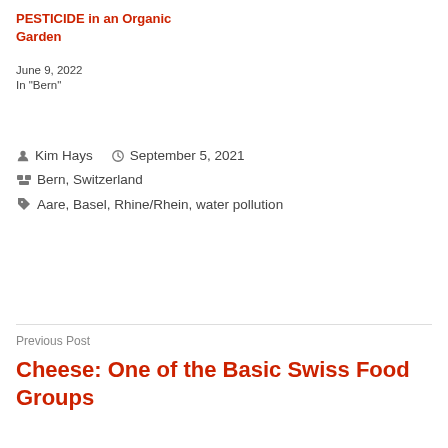PESTICIDE in an Organic Garden
June 9, 2022
In "Bern"
Kim Hays   September 5, 2021
Bern, Switzerland
Aare, Basel, Rhine/Rhein, water pollution
Previous Post
Cheese: One of the Basic Swiss Food Groups